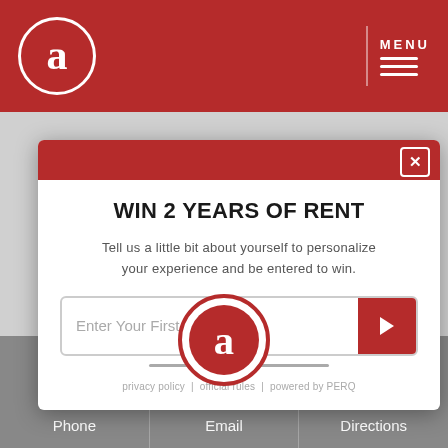a [logo] | MENU
WIN 2 YEARS OF RENT
Tell us a little bit about yourself to personalize your experience and be entered to win.
Enter Your First Name
privacy policy | official rules | powered by PERQ
[Figure (logo): Circular logo with letter 'a' inside, red background with white border]
Phone
Email
Directions